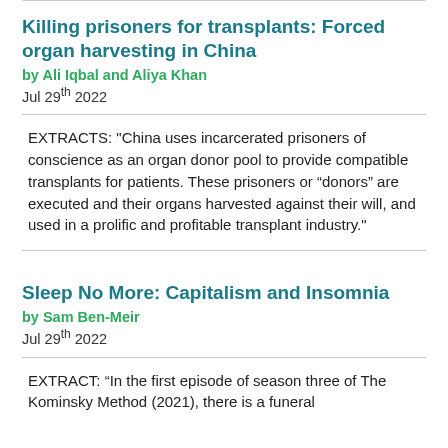Killing prisoners for transplants: Forced organ harvesting in China
by Ali Iqbal and Aliya Khan
Jul 29th 2022
EXTRACTS: "China uses incarcerated prisoners of conscience as an organ donor pool to provide compatible transplants for patients. These prisoners or “donors” are executed and their organs harvested against their will, and used in a prolific and profitable transplant industry."
Sleep No More: Capitalism and Insomnia
by Sam Ben-Meir
Jul 29th 2022
EXTRACT: “In the first episode of season three of The Kominsky Method (2021), there is a funeral